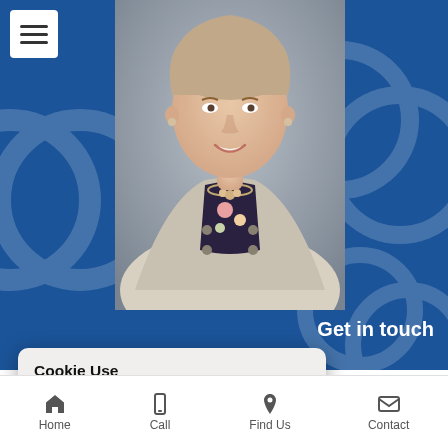[Figure (screenshot): Mobile website screenshot showing a woman counsellor's profile photo on a blue background, a hamburger menu button in top-left, 'Get in touch' heading, a cookie consent modal, partial body text about counselling services, and a bottom navigation bar with Home, Call, Find Us, Contact icons.]
Cookie Use
We use cookies to ensure a smooth browsing experience. By accepting, you agree the use of cookies. Learn More
Accept all  Settings  No Thanks
Get in touch
counsellor. I work with ndle difficult situations help them with coping et older. I've worked in special needs. You can
Home  Call  Find Us  Contact